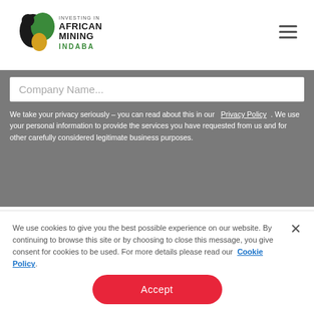[Figure (logo): Investing in African Mining Indaba logo with map of Africa icon in green, black and gold]
Company Name...
We take your privacy seriously – you can read about this in our Privacy Policy . We use your personal information to provide the services you have requested from us and for other carefully considered legitimate business purposes.
We use cookies to give you the best possible experience on our website. By continuing to browse this site or by choosing to close this message, you give consent for cookies to be used. For more details please read our Cookie Policy.
Accept